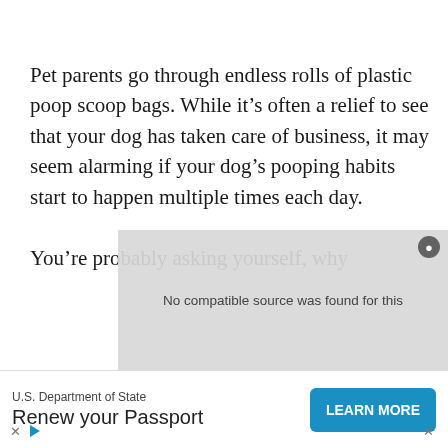Pet parents go through endless rolls of plastic poop scoop bags. While it's often a relief to see that your dog has taken care of business, it may seem alarming if your dog's pooping habits start to happen multiple times each day.
[Figure (screenshot): Video player overlay showing 'No compatible source was found for this' message with close button]
You're probably asking yourself, why
[Figure (screenshot): Advertisement banner: U.S. Department of State - Renew your Passport - LEARN MORE button, with X and play icons at bottom left]